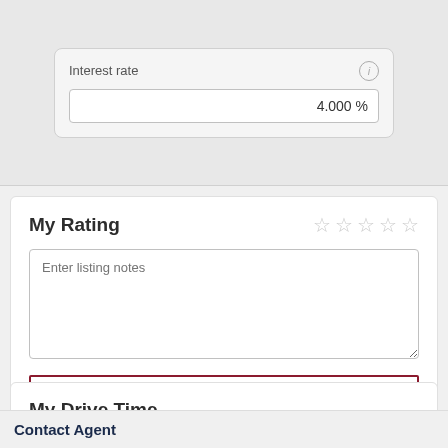[Figure (screenshot): Interest rate input field showing 4.000% with an info icon]
My Rating
Enter listing notes
SUBMIT
My Drive Time
Contact Agent